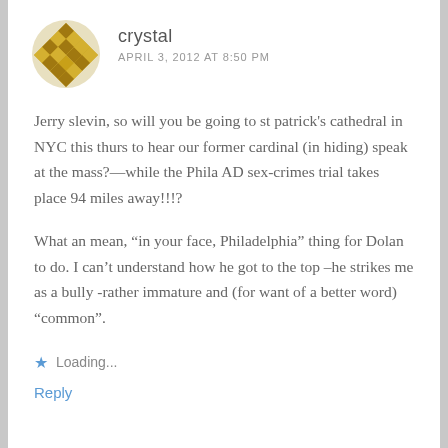[Figure (illustration): Gold geometric pattern avatar/icon for user 'crystal']
crystal
APRIL 3, 2012 AT 8:50 PM
Jerry slevin, so will you be going to st patrick's cathedral in NYC this thurs to hear our former cardinal (in hiding) speak at the mass?—while the Phila AD sex-crimes trial takes place 94 miles away!!!?
What an mean, “in your face, Philadelphia” thing for Dolan to do. I can’t understand how he got to the top –he strikes me as a bully -rather immature and (for want of a better word) “common”.
Loading...
Reply